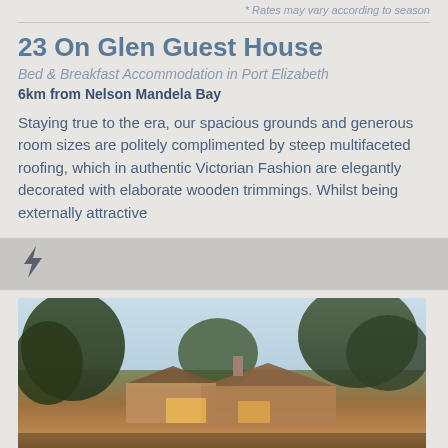* Rates may vary according to season
23 On Glen Guest House
Bed & Breakfast Accommodation in Port Elizabeth
6km from Nelson Mandela Bay
Staying true to the era, our spacious grounds and generous room sizes are politely complimented by steep multifaceted roofing, which in authentic Victorian Fashion are elegantly decorated with elaborate wooden trimmings. Whilst being externally attractive
[Figure (photo): Exterior photo of 23 On Glen Guest House showing a Victorian-style building surrounded by large trees, with warm lighting visible, photographed at dusk or early evening]